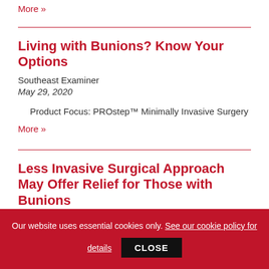More »
Living with Bunions? Know Your Options
Southeast Examiner
May 29, 2020
Product Focus: PROstep™ Minimally Invasive Surgery
More »
Less Invasive Surgical Approach May Offer Relief for Those with Bunions
WPLG-TV
January 07, 2020
Our website uses essential cookies only. See our cookie policy for details  CLOSE